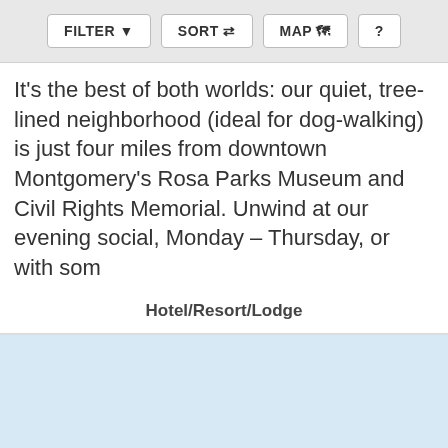FILTER | SORT | MAP | ?
It's the best of both worlds: our quiet, tree-lined neighborhood (ideal for dog-walking) is just four miles from downtown Montgomery's Rosa Parks Museum and Civil Rights Memorial. Unwind at our evening social, Monday – Thursday, or with som
Hotel/Resort/Lodge
[Figure (map): Light blue map area placeholder]
Willow Point Country Club